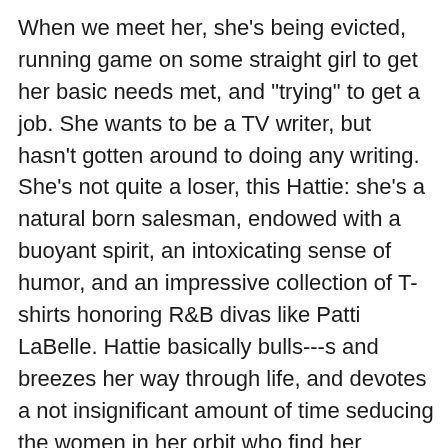When we meet her, she's being evicted, running game on some straight girl to get her basic needs met, and "trying" to get a job. She wants to be a TV writer, but hasn't gotten around to doing any writing. She's not quite a loser, this Hattie: she's a natural born salesman, endowed with a buoyant spirit, an intoxicating sense of humor, and an impressive collection of T-shirts honoring R&B divas like Patti LaBelle. Hattie basically bulls---s and breezes her way through life, and devotes a not insignificant amount of time seducing the women in her orbit who find her irresistible. Hattie loves macking on the ladies, many of them straight, and we love to see her use her beguiling alchemy to lure somewhat unsuspecting chicks